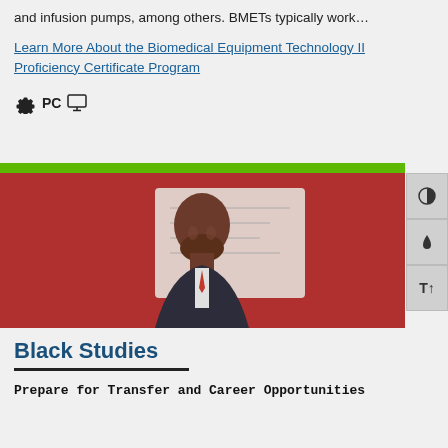and infusion pumps, among others. BMETs typically work…
Learn More About the Biomedical Equipment Technology II Proficiency Certificate Program
PC
[Figure (photo): Young man in a suit standing in front of a whiteboard against a red background]
Black Studies
Prepare for Transfer and Career Opportunities